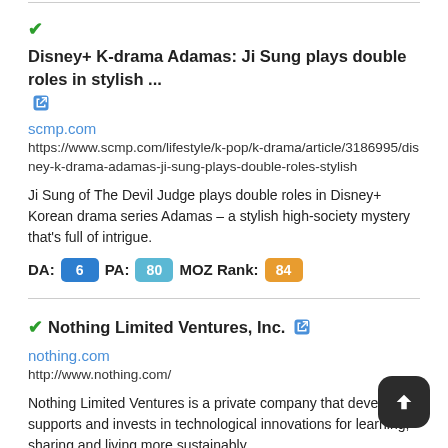Disney+ K-drama Adamas: Ji Sung plays double roles in stylish ...
scmp.com
https://www.scmp.com/lifestyle/k-pop/k-drama/article/3186995/disney-k-drama-adamas-ji-sung-plays-double-roles-stylish
Ji Sung of The Devil Judge plays double roles in Disney+ Korean drama series Adamas – a stylish high-society mystery that's full of intrigue.
DA: 6  PA: 80  MOZ Rank: 84
Nothing Limited Ventures, Inc.
nothing.com
http://www.nothing.com/
Nothing Limited Ventures is a private company that develops, supports and invests in technological innovations for learning, sharing and living more sustainably.
DA: 47  PA: 81  MOZ Rank: 98